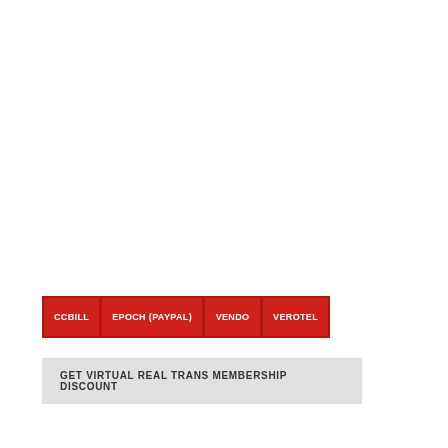CCBILL | EPOCH (PAYPAL) | VENDO | VEROTEL
GET VIRTUAL REAL TRANS MEMBERSHIP DISCOUNT